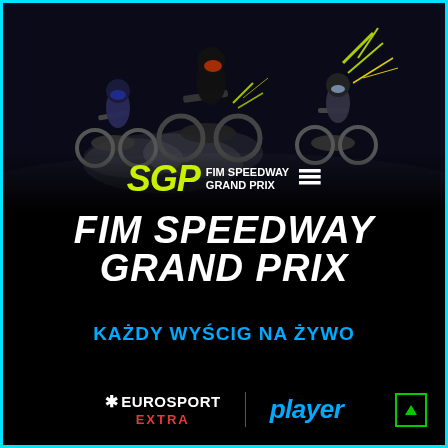[Figure (photo): Speedway motorcycle riders racing on a dark track, action shot with motion blur and dust/sparks, dark dramatic lighting]
[Figure (logo): SGP FIM Speedway Grand Prix logo in yellow-green italic lettering with white FIM Speedway Grand Prix text and horizontal lines icon]
FIM SPEEDWAY GRAND PRIX
KAŻDY WYŚCIG NA ŻYWO
[Figure (logo): Eurosport Extra logo - white star asterisk, EUROSPORT in white, EXTRA in red]
[Figure (logo): Player logo in cyan/blue italic bold text]